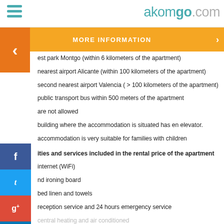akomgo.com
MORE INFORMATION
est park Montgo (within 6 kilometers of the apartment)
nearest airport Alicante (within 100 kilometers of the apartment)
second nearest airport Valencia ( > 100 kilometers of the apartment)
public transport bus within 500 meters of the apartment
are not allowed
building where the accommodation is situated has en elevator.
accommodation is very suitable for families with children
ities and services included in the rental price of the apartment
internet (WiFi)
nd ironing board
bed linen and towels
reception service and 24 hours emergency service
central heating and air conditioned